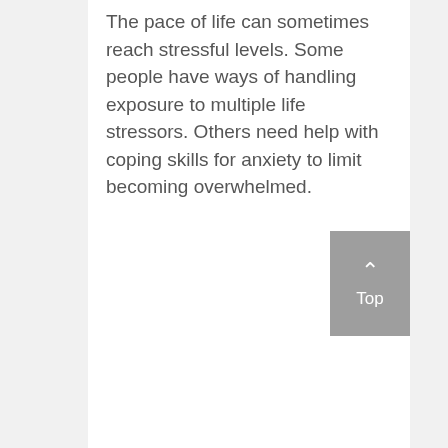The pace of life can sometimes reach stressful levels. Some people have ways of handling exposure to multiple life stressors. Others need help with coping skills for anxiety to limit becoming overwhelmed.
[Figure (other): A grey button with an upward chevron arrow and the word 'Top', used as a scroll-to-top navigation element.]